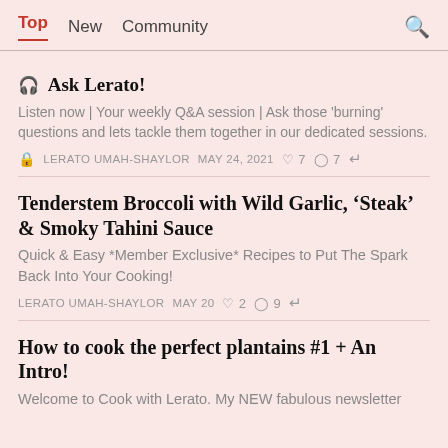Top   New   Community   🔍
🎧 Ask Lerato!
Listen now | Your weekly Q&A session | Ask those 'burning' questions and lets tackle them together in our dedicated sessions.
🔒   LERATO UMAH-SHAYLOR   MAY 24, 2021   ♡ 7   ○ 7   ↗
Tenderstem Broccoli with Wild Garlic, 'Steak' & Smoky Tahini Sauce
Quick & Easy *Member Exclusive* Recipes to Put The Spark Back Into Your Cooking!
LERATO UMAH-SHAYLOR   MAY 20   ♡ 2   ○ 9   ↗
How to cook the perfect plantains #1 + An Intro!
Welcome to Cook with Lerato. My NEW fabulous newsletter